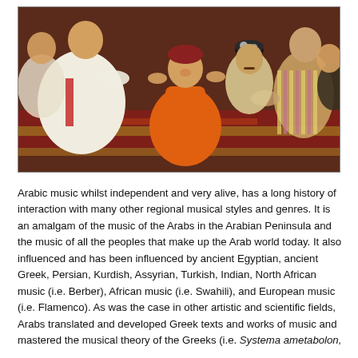[Figure (illustration): A colorful painting depicting a traditional Arabic or Central Asian festive dance scene. A woman in an orange dress dances in the center, surrounded by seated and kneeling men playing instruments and watching. The figures wear traditional clothing including striped robes and embroidered caps. A decorative carpet covers the floor.]
Arabic music whilst independent and very alive, has a long history of interaction with many other regional musical styles and genres. It is an amalgam of the music of the Arabs in the Arabian Peninsula and the music of all the peoples that make up the Arab world today. It also influenced and has been influenced by ancient Egyptian, ancient Greek, Persian, Kurdish, Assyrian, Turkish, Indian, North African music (i.e. Berber), African music (i.e. Swahili), and European music (i.e. Flamenco). As was the case in other artistic and scientific fields, Arabs translated and developed Greek texts and works of music and mastered the musical theory of the Greeks (i.e. Systema ametabolon,